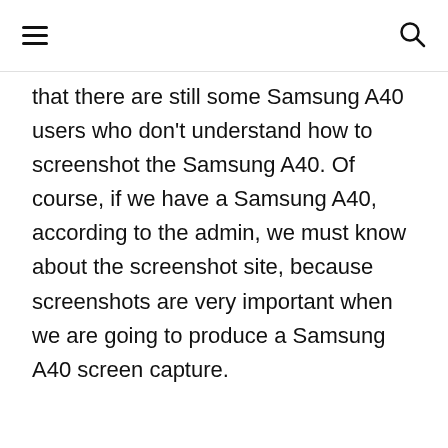≡  🔍
that there are still some Samsung A40 users who don't understand how to screenshot the Samsung A40. Of course, if we have a Samsung A40, according to the admin, we must know about the screenshot site, because screenshots are very important when we are going to produce a Samsung A40 screen capture.